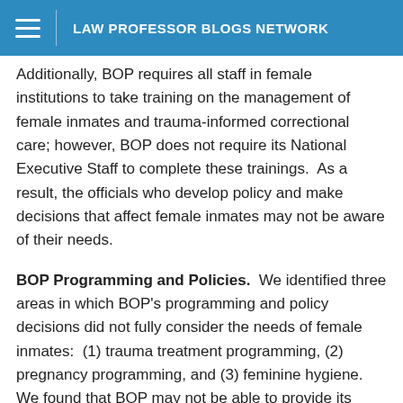LAW PROFESSOR BLOGS NETWORK
Additionally, BOP requires all staff in female institutions to take training on the management of female inmates and trauma-informed correctional care; however, BOP does not require its National Executive Staff to complete these trainings. As a result, the officials who develop policy and make decisions that affect female inmates may not be aware of their needs.
BOP Programming and Policies. We identified three areas in which BOP's programming and policy decisions did not fully consider the needs of female inmates: (1) trauma treatment programming, (2) pregnancy programming, and (3) feminine hygiene. We found that BOP may not be able to provide its trauma treatment program to all eligible female inmates until late in their incarceration, if at all, because BOP has assigned only one staff